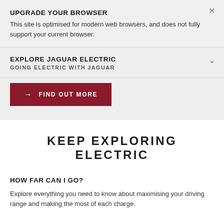UPGRADE YOUR BROWSER
This site is optimised for modern web browsers, and does not fully support your current browser.
EXPLORE JAGUAR ELECTRIC
GOING ELECTRIC WITH JAGUAR
→ FIND OUT MORE
KEEP EXPLORING ELECTRIC
HOW FAR CAN I GO?
Explore everything you need to know about maximising your driving range and making the most of each charge.